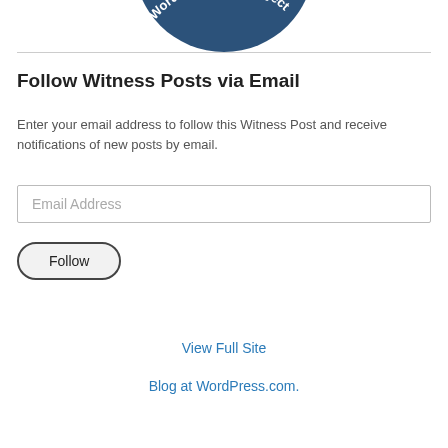[Figure (logo): Partial WordPress.com project logo badge — dark blue circular badge showing 'A WordPress.com Project' text, cropped at top]
Follow Witness Posts via Email
Enter your email address to follow this Witness Post and receive notifications of new posts by email.
Email Address
Follow
View Full Site
Blog at WordPress.com.